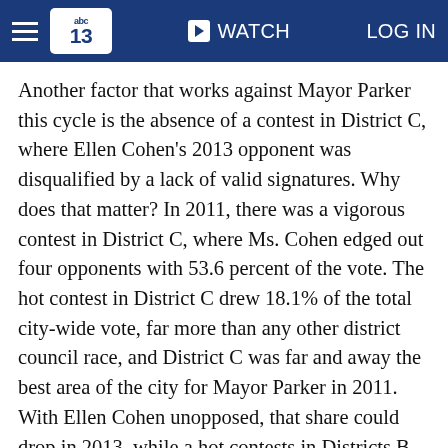abc13 | WATCH | LOG IN
Another factor that works against Mayor Parker this cycle is the absence of a contest in District C, where Ellen Cohen's 2013 opponent was disqualified by a lack of valid signatures. Why does that matter? In 2011, there was a vigorous contest in District C, where Ms. Cohen edged out four opponents with 53.6 percent of the vote. The hot contest in District C drew 18.1% of the total city-wide vote, far more than any other district council race, and District C was far and away the best area of the city for Mayor Parker in 2011. With Ellen Cohen unopposed, that share could drop in 2013, while a hot contests in Districts B and D -- both heavily Black -- will probably drive up Ben Hall's margins in those areas.
So, the structural factors, in my mind, make a mayoral runoff more likely than not in 2013. But campaigns matter, and the Hall effort to date has not proven very impressive. If he is